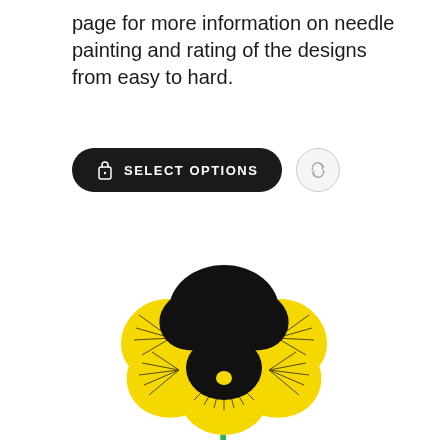page for more information on needle painting and rating of the designs from easy to hard.
[Figure (illustration): A black rounded pill-shaped button with a lock/bag icon and the text SELECT OPTIONS in white bold uppercase letters, alongside a light grey circle button with a refresh/reload icon]
[Figure (illustration): A yellow and black pansy flower embroidery design with a green stem, showing detailed needle painting texture with black center markings radiating outward on yellow petals, and a solid black upper petal cluster]